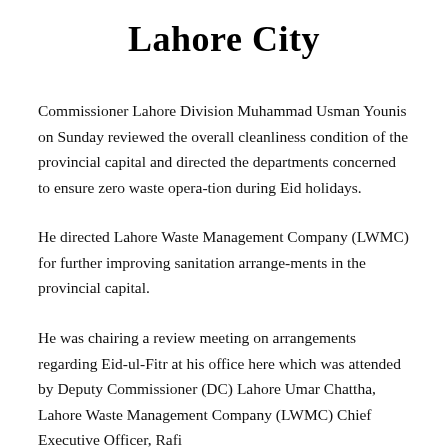Lahore City
Commissioner Lahore Division Muhammad Usman Younis on Sunday reviewed the overall cleanliness condition of the provincial capital and directed the departments concerned to ensure zero waste opera-tion during Eid holidays.
He directed Lahore Waste Management Company (LWMC) for further improving sanitation arrange-ments in the provincial capital.
He was chairing a review meeting on arrangements regarding Eid-ul-Fitr at his office here which was attended by Deputy Commissioner (DC) Lahore Umar Chattha, Lahore Waste Management Company (LWMC) Chief Executive Officer, Rafi...